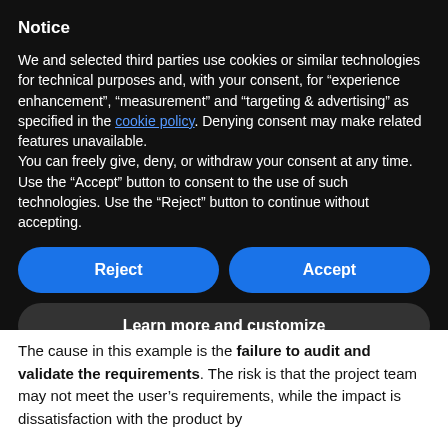Notice
We and selected third parties use cookies or similar technologies for technical purposes and, with your consent, for “experience enhancement”, “measurement” and “targeting & advertising” as specified in the cookie policy. Denying consent may make related features unavailable.
You can freely give, deny, or withdraw your consent at any time. Use the “Accept” button to consent to the use of such technologies. Use the “Reject” button to continue without accepting.
Reject
Accept
Learn more and customize
The cause in this example is the failure to audit and validate the requirements. The risk is that the project team may not meet the user’s requirements, while the impact is dissatisfaction with the product by